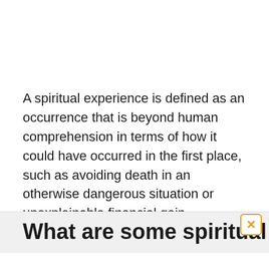A spiritual experience is defined as an occurrence that is beyond human comprehension in terms of how it could have occurred in the first place, such as avoiding death in an otherwise dangerous situation or unexplainable financial gain.
What are some spiritual